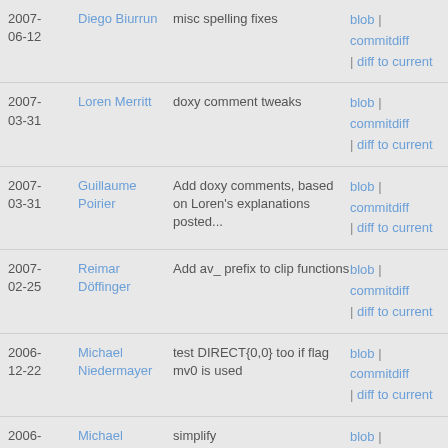| Date | Author | Message | Links |
| --- | --- | --- | --- |
| 2007-06-12 | Diego Biurrun | misc spelling fixes | blob | commitdiff | diff to current |
| 2007-03-31 | Loren Merritt | doxy comment tweaks | blob | commitdiff | diff to current |
| 2007-03-31 | Guillaume Poirier | Add doxy comments, based on Loren's explanations posted... | blob | commitdiff | diff to current |
| 2007-02-25 | Reimar Döffinger | Add av_ prefix to clip functions | blob | commitdiff | diff to current |
| 2006-12-22 | Michael Niedermayer | test DIRECT{0,0} too if flag mv0 is used | blob | commitdiff | diff to current |
| 2006-12-21 | Michael Niedermayer | simplify | blob | commitdiff |